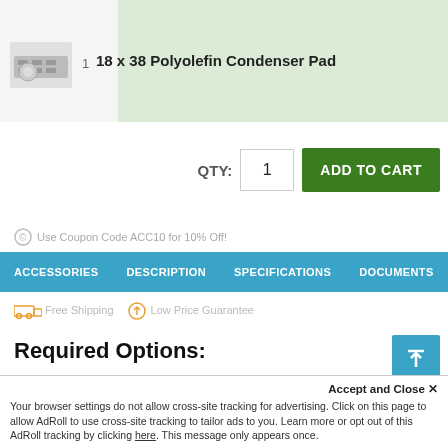18 x 38 Polyolefin Condenser Pad
QTY: 1  ADD TO CART
Use Coupon Code ACC10 for 10% Off!
ACCESSORIES  DESCRIPTION  SPECIFICATIONS  DOCUMENTS  P
Free Shipping  Low Price Guarantee
Required Options:
Prepaid No-Hassle Shipping
Description
Accept and Close ✕
Your browser settings do not allow cross-site tracking for advertising. Click on this page to allow AdRoll to use cross-site tracking to tailor ads to you. Learn more or opt out of this AdRoll tracking by clicking here. This message only appears once.